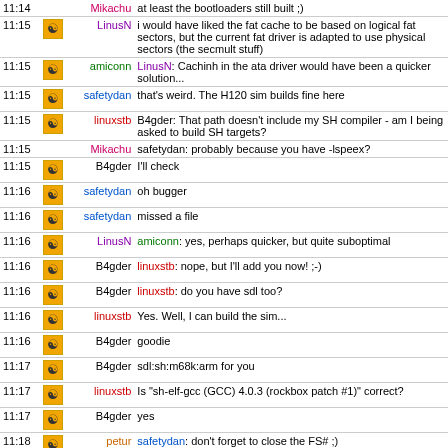| Time | Icon | Name | Message |
| --- | --- | --- | --- |
| 11:14 |  | Mikachu | at least the bootloaders still built ;) |
| 11:15 | icon | LinusN | i would have liked the fat cache to be based on logical fat sectors, but the current fat driver is adapted to use physical sectors (the secmult stuff) |
| 11:15 | icon | amiconn | LinusN: Cachinh in the ata driver would have been a quicker solution... |
| 11:15 | icon | safetydan | that's weird. The H120 sim builds fine here |
| 11:15 | icon | linuxstb | B4gder: That path doesn't include my SH compiler - am I being asked to build SH targets? |
| 11:15 |  | Mikachu | safetydan: probably because you have -lspeex? |
| 11:15 | icon | B4gder | I'll check |
| 11:16 | icon | safetydan | oh bugger |
| 11:16 | icon | safetydan | missed a file |
| 11:16 | icon | LinusN | amiconn: yes, perhaps quicker, but quite suboptimal |
| 11:16 | icon | B4gder | linuxstb: nope, but I'll add you now! ;-) |
| 11:16 | icon | B4gder | linuxstb: do you have sdl too? |
| 11:16 | icon | linuxstb | Yes. Well, I can build the sim... |
| 11:16 | icon | B4gder | goodie |
| 11:17 | icon | B4gder | sdl:sh:m68k:arm for you |
| 11:17 | icon | linuxstb | Is "sh-elf-gcc (GCC) 4.0.3 (rockbox patch #1)" correct? |
| 11:17 | icon | B4gder | yes |
| 11:18 | icon | petur | safetydan: don't forget to close the FS# ;) |
| 11:18 | icon | safetydan | petur, will do once it actually builds for everyone :) |
| 11:20 | icon | LinusN | the current way of supporting 2048-byte logical sectors |